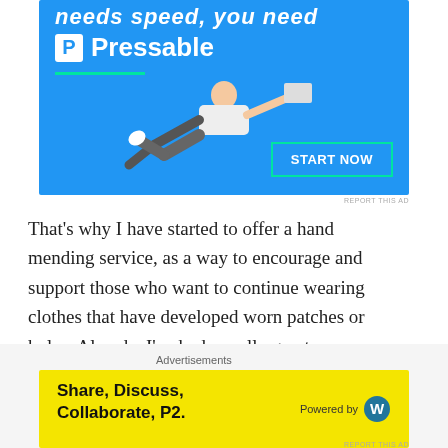[Figure (other): Pressable web hosting advertisement banner. Blue background with 'needs speed, you need' italic text, Pressable logo with P box icon, green underline, a person flying horizontally holding a laptop, and a START NOW button with green border.]
REPORT THIS AD
That's why I have started to offer a hand mending service, as a way to encourage and support those who want to continue wearing clothes that have developed worn patches or holes. Already, I've had a really great response, and have fixed up everything from beautiful handknit jumpers and kids leggings to gloves and
[Figure (other): Bottom advertisement for P2 by WordPress. Yellow background with bold text 'Share, Discuss, Collaborate, P2.' and 'Powered by' with WordPress logo on the right.]
REPORT THIS AD